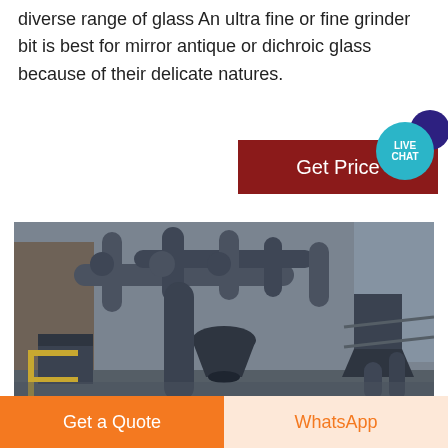diverse range of glass An ultra fine or fine grinder bit is best for mirror antique or dichroic glass because of their delicate natures.
[Figure (photo): Industrial grinding/milling equipment — large facility with grey pipes, ducts, and machinery including cyclone separators and conveyors, photographed from ground level outdoors.]
Get Price
LIVE CHAT
Get a Quote
WhatsApp